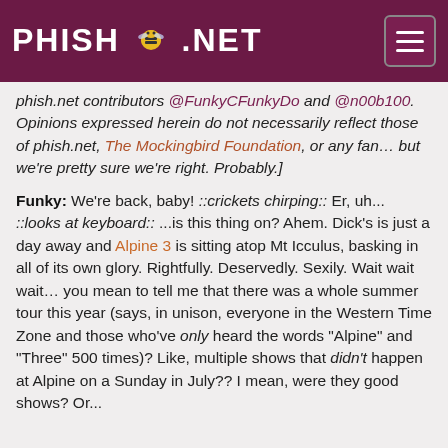PHISH.NET
phish.net contributors @FunkyCFunkyDo and @n00b100. Opinions expressed herein do not necessarily reflect those of phish.net, The Mockingbird Foundation, or any fan… but we're pretty sure we're right. Probably.]
Funky: We're back, baby! ::crickets chirping:: Er, uh... ::looks at keyboard:: ...is this thing on? Ahem. Dick's is just a day away and Alpine 3 is sitting atop Mt Icculus, basking in all of its own glory. Rightfully. Deservedly. Sexily. Wait wait wait… you mean to tell me that there was a whole summer tour this year (says, in unison, everyone in the Western Time Zone and those who've only heard the words "Alpine" and "Three" 500 times)? Like, multiple shows that didn't happen at Alpine on a Sunday in July?? I mean, were they good shows? Or...